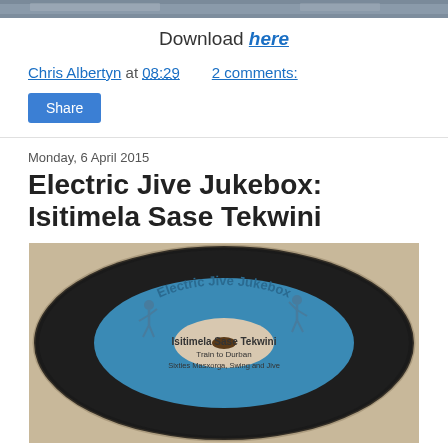[Figure (photo): Top banner photo of an album or record, partially visible, dark tones]
Download here
Chris Albertyn at 08:29    2 comments:
Share
Monday, 6 April 2015
Electric Jive Jukebox: Isitimela Sase Tekwini
[Figure (photo): A vinyl record with a blue label reading 'Electric Jive Jukebox – Isitimela Sase Tekwini – Train to Durban – Sixties Masxorga, Swing and Jive', with dancing figures silhouetted on the label]